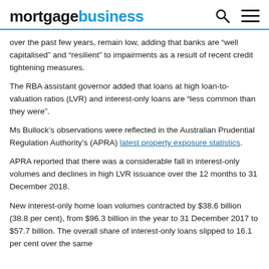mortgagebusiness
over the past few years, remain low, adding that banks are “well capitalised” and “resilient” to impairments as a result of recent credit tightening measures.
The RBA assistant governor added that loans at high loan-to-valuation ratios (LVR) and interest-only loans are “less common than they were”.
Ms Bullock’s observations were reflected in the Australian Prudential Regulation Authority’s (APRA) latest property exposure statistics.
APRA reported that there was a considerable fall in interest-only volumes and declines in high LVR issuance over the 12 months to 31 December 2018.
New interest-only home loan volumes contracted by $38.6 billion (38.8 per cent), from $96.3 billion in the year to 31 December 2017 to $57.7 billion. The overall share of interest-only loans slipped to 16.1 per cent over the same